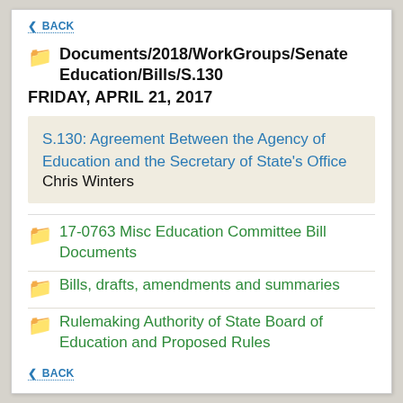◄ BACK
📁 Documents/2018/WorkGroups/Senate Education/Bills/S.130
FRIDAY, APRIL 21, 2017
S.130: Agreement Between the Agency of Education and the Secretary of State's Office Chris Winters
📁 17-0763 Misc Education Committee Bill Documents
📁 Bills, drafts, amendments and summaries
📁 Rulemaking Authority of State Board of Education and Proposed Rules
◄ BACK